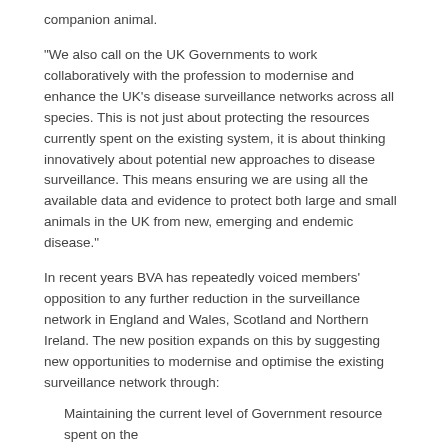companion animal.
“We also call on the UK Governments to work collaboratively with the profession to modernise and enhance the UK’s disease surveillance networks across all species. This is not just about protecting the resources currently spent on the existing system, it is about thinking innovatively about potential new approaches to disease surveillance. This means ensuring we are using all the available data and evidence to protect both large and small animals in the UK from new, emerging and endemic disease.”
In recent years BVA has repeatedly voiced members’ opposition to any further reduction in the surveillance network in England and Wales, Scotland and Northern Ireland. The new position expands on this by suggesting new opportunities to modernise and optimise the existing surveillance network through:
Maintaining the current level of Government resource spent on the